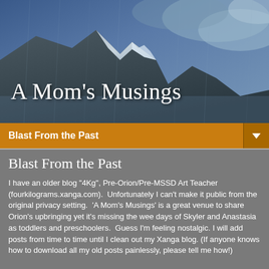[Figure (photo): A dramatic photo of a snow-capped mountain peak with stormy sky and rain/mist, dark blue and grey tones]
A Mom's Musings
Blast From the Past
Blast From the Past
I have an older blog "4Kg", Pre-Orion/Pre-MSSD Art Teacher (fourkilograms.xanga.com).  Unfortunately I can't make it public from the original privacy setting.  'A Mom's Musings' is a great venue to share Orion's upbringing yet it's missing the wee days of Skyler and Anastasia as toddlers and preschoolers.  Guess I'm feeling nostalgic. I will add posts from time to time until I clean out my Xanga blog. (If anyone knows how to download all my old posts painlessly, please tell me how!)